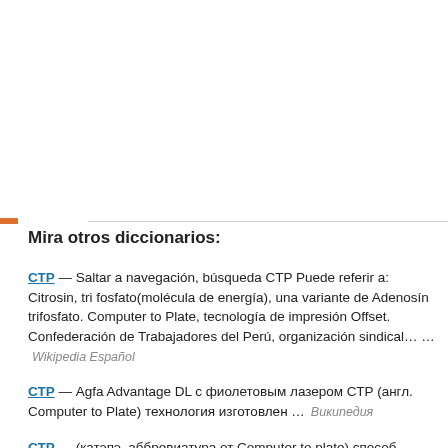Mira otros diccionarios:
СТР — Saltar a navegación, búsqueda CTP Puede referir a: Citrosin, tri fosfato(molécula de energía), una variante de Adenosín trifosfato. Computer to Plate, tecnología de impresión Offset. Confederación de Trabajadores del Perú, organización sindical… … Wikipedia Español
СТР — Agfa Advantage DL с фиолетовым лазером СТР (англ. Computer to Plate) технология изготовлен … Википедия
СТР — (катэпэ, аббревиатура от Computer to plate) способ полиграф. производства, при котором с помощью компьютера